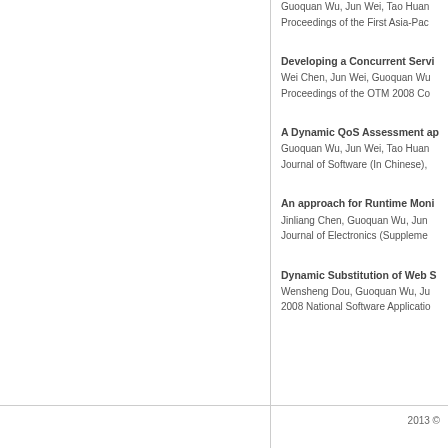Guoquan Wu, Jun Wei, Tao Huan...
Proceedings of the First Asia-Pac...
Developing a Concurrent Servi...
Wei Chen, Jun Wei, Guoquan Wu...
Proceedings of the OTM 2008 Co...
A Dynamic QoS Assessment ap...
Guoquan Wu, Jun Wei, Tao Huan...
Journal of Software (In Chinese),...
An approach for Runtime Moni...
Jinliang Chen, Guoquan Wu, Jun...
Journal of Electronics (Suppleme...
Dynamic Substitution of Web S...
Wensheng Dou, Guoquan Wu, Ju...
2008 National Software Applicatio...
2013 ©